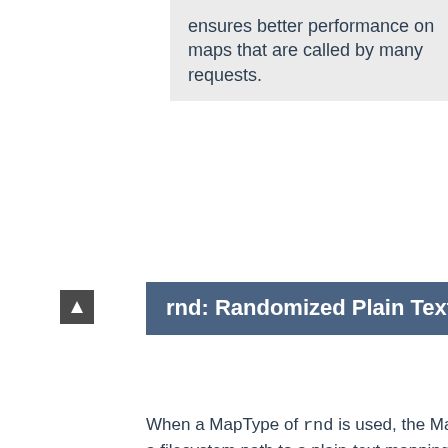ensures better performance on maps that are called by many requests.
rnd: Randomized Plain Text
When a MapType of rnd is used, the MapSource is a filesystem path to a plain-text mapping file, each line of which contains a key, and one or more values separated by |. One of these values will be chosen at random if the key is matched.
For example, you can use the following map file and directives to provide a random load balancing